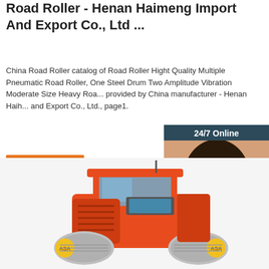Road Roller - Henan Haimeng Import And Export Co., Ltd ...
China Road Roller catalog of Road Roller Hight Quality Multiple Pneumatic Road Roller, One Steel Drum Two Amplitude Vibration Moderate Size Heavy Road provided by China manufacturer - Henan Haih... and Export Co., Ltd., page1.
Get Price
[Figure (photo): Woman with headset - 24/7 Online chat widget with 'Click here for free chat!' text and QUOTATION button]
[Figure (photo): Red road roller machine photographed from the front-side angle]